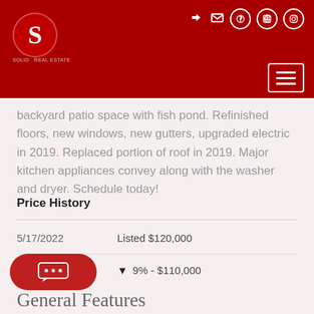S [logo header with navigation icons]
backyard patio space with fish pond. Refinished floors, new windows, new gutters, upgraded electric in 2019. Replaced portion of roof in 2019. Major kitchen appliances convey along with the washer and dryer. Schedule today!
Price History
| Date | Event |
| --- | --- |
| 5/17/2022 | Listed $120,000 |
| 5/26/2022 | ▼ 9% - $110,000 |
General Features